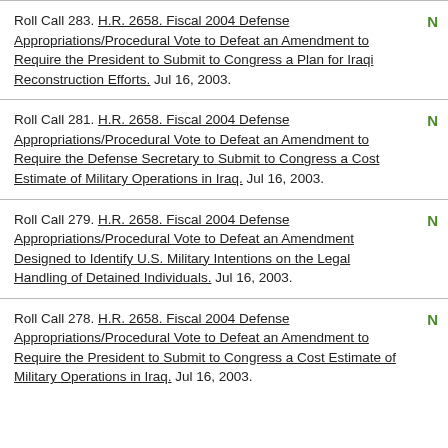Roll Call 283. H.R. 2658. Fiscal 2004 Defense Appropriations/Procedural Vote to Defeat an Amendment to Require the President to Submit to Congress a Plan for Iraqi Reconstruction Efforts. Jul 16, 2003. N
Roll Call 281. H.R. 2658. Fiscal 2004 Defense Appropriations/Procedural Vote to Defeat an Amendment to Require the Defense Secretary to Submit to Congress a Cost Estimate of Military Operations in Iraq. Jul 16, 2003. N
Roll Call 279. H.R. 2658. Fiscal 2004 Defense Appropriations/Procedural Vote to Defeat an Amendment Designed to Identify U.S. Military Intentions on the Legal Handling of Detained Individuals. Jul 16, 2003. N
Roll Call 278. H.R. 2658. Fiscal 2004 Defense Appropriations/Procedural Vote to Defeat an Amendment to Require the President to Submit to Congress a Cost Estimate of Military Operations in Iraq. Jul 16, 2003. N